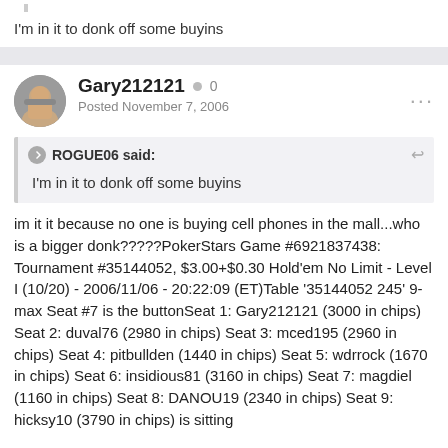I'm in it to donk off some buyins
Gary212121 • 0
Posted November 7, 2006
ROGUE06 said:
I'm in it to donk off some buyins
im it it because no one is buying cell phones in the mall...who is a bigger donk?????PokerStars Game #6921837438: Tournament #35144052, $3.00+$0.30 Hold'em No Limit - Level I (10/20) - 2006/11/06 - 20:22:09 (ET)Table '35144052 245' 9-max Seat #7 is the buttonSeat 1: Gary212121 (3000 in chips) Seat 2: duval76 (2980 in chips) Seat 3: mced195 (2960 in chips) Seat 4: pitbullden (1440 in chips) Seat 5: wdrrock (1670 in chips) Seat 6: insidious81 (3160 in chips) Seat 7: magdiel (1160 in chips) Seat 8: DANOU19 (2340 in chips) Seat 9: hicksy10 (3790 in chips) is sitting